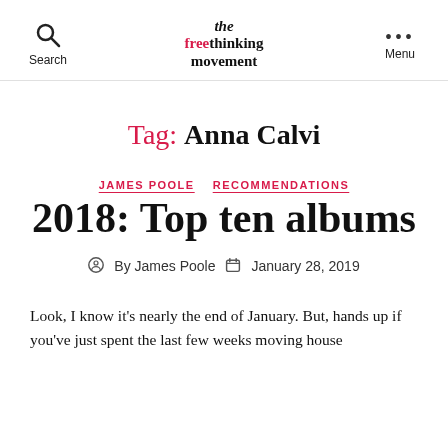the freethinking movement | Search | Menu
Tag: Anna Calvi
JAMES POOLE   RECOMMENDATIONS
2018: Top ten albums
By James Poole   January 28, 2019
Look, I know it's nearly the end of January. But, hands up if you've just spent the last few weeks moving house